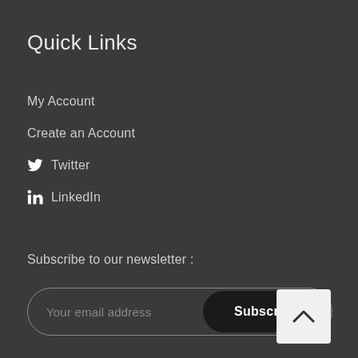Quick Links
My Account
Create an Account
Twitter
LinkedIn
Subscribe to our newsletter :
Your email address
Subscribe
[Figure (other): Scroll to top button with upward chevron arrow]